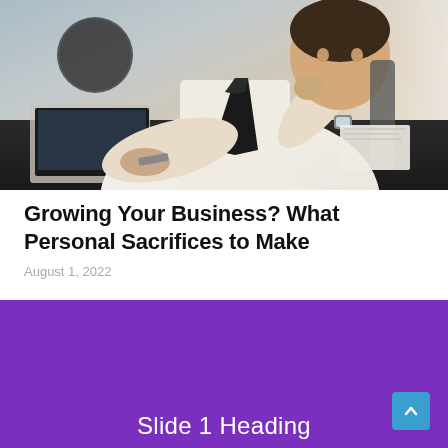[Figure (photo): Business professional in white shirt and tie sitting at a dark desk, looking thoughtful with hand near chin, laptop visible, bright window in background]
Growing Your Business? What Personal Sacrifices to Make
August 1, 2022
[Figure (other): Purple slide banner with white text reading 'Slide 1 Heading' and a teal back-to-top arrow button in the bottom right corner]